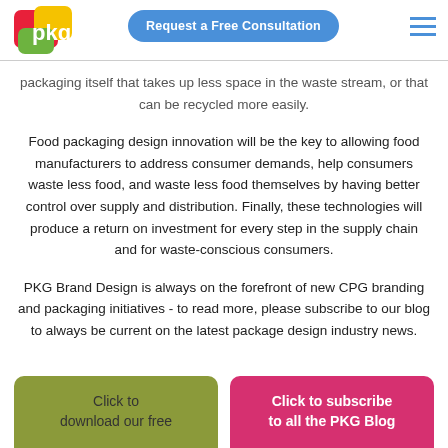[Figure (logo): PKG Brand Design logo with colorful speech bubble shapes]
packaging itself that takes up less space in the waste stream, or that can be recycled more easily.
Food packaging design innovation will be the key to allowing food manufacturers to address consumer demands, help consumers waste less food, and waste less food themselves by having better control over supply and distribution. Finally, these technologies will produce a return on investment for every step in the supply chain and for waste-conscious consumers.
PKG Brand Design is always on the forefront of new CPG branding and packaging initiatives - to read more, please subscribe to our blog to always be current on the latest package design industry news.
Click to download our free
Click to subscribe to all the PKG Blog